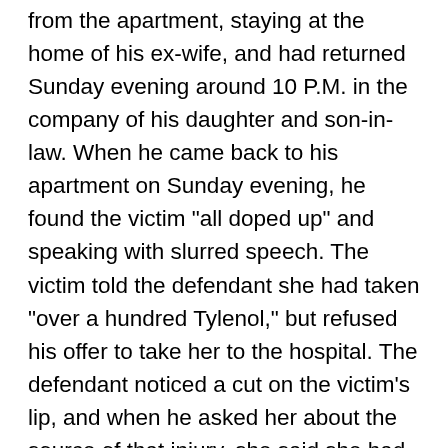from the apartment, staying at the home of his ex-wife, and had returned Sunday evening around 10 P.M. in the company of his daughter and son-in-law. When he came back to his apartment on Sunday evening, he found the victim "all doped up" and speaking with slurred speech. The victim told the defendant she had taken "over a hundred Tylenol," but refused his offer to take her to the hospital. The defendant noticed a cut on the victim's lip, and when he asked her about the source of that injury, she said she had fallen in the bathroom. The defendant said he went to sleep on Sunday evening and the next day he went out to run errands at noon. When he returned to the apartment at about 2:15 P.M., he found the victim sitting on the couch, naked, with her head near her knees, complaining of a burning fever. The defendant noticed that he saw something red, and that he saw a bare